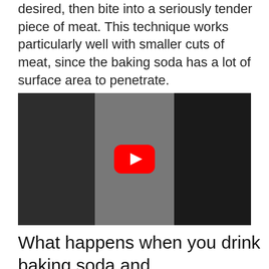desired, then bite into a seriously tender piece of meat. This technique works particularly well with smaller cuts of meat, since the baking soda has a lot of surface area to penetrate.
[Figure (screenshot): YouTube video thumbnail showing a woman with short grey hair in a white floral top, appearing to be tasting or drinking something. The image is a three-panel composite. A red YouTube play button is centered over the image.]
What happens when you drink baking soda and